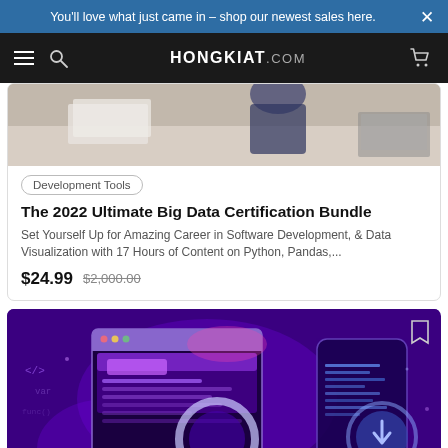You'll love what just came in – shop our newest sales here.
[Figure (screenshot): Hongkiat.com navigation bar with hamburger menu, search icon, logo, and cart icon on dark background]
[Figure (photo): Partial photo of a person at a desk with papers and a laptop]
Development Tools
The 2022 Ultimate Big Data Certification Bundle
Set Yourself Up for Amazing Career in Software Development, & Data Visualization with 17 Hours of Content on Python, Pandas,...
$24.99  $2,000.00
[Figure (illustration): Purple-themed illustration of web/app development with browser window, magnifying glass, smartphone, code elements, and circular download icon]